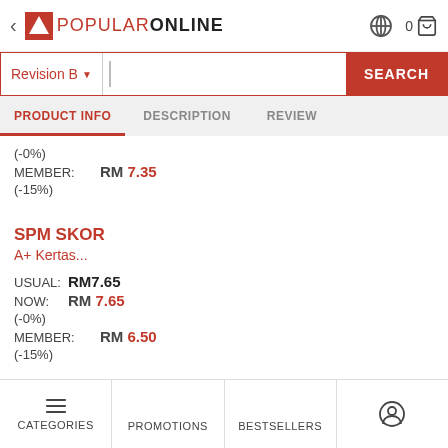< POPULAR ONLINE  0 [cart]
Revision B [search dropdown]  SEARCH
PRODUCT INFO  DESCRIPTION  REVIEW
(-0%)
MEMBER:  RM 7.35
(-15%)
SPM SKOR
A+ Kertas...
USUAL:  RM7.65
NOW:  RM 7.65
(-0%)
MEMBER:  RM 6.50
(-15%)
CATEGORIES  PROMOTIONS  BESTSELLERS  [icon]